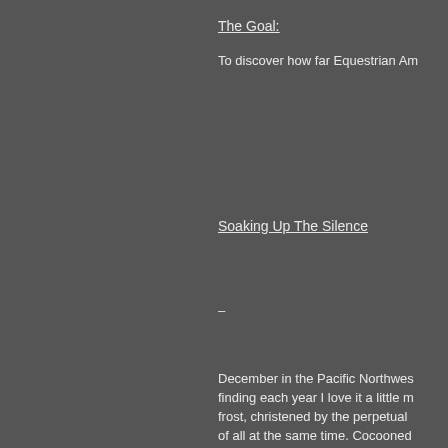The Goal:
To discover how far Equestrian Am
Soaking Up The Silence
-
December in the Pacific Northwes finding each year I love it a little m frost, christened by the perpetual of all at the same time. Cocooned be swept occasionally into the bri before the cocoon of cloud cover
I feel a sense of peace, safety, an almost endless, deep, grey skies Almost as though the weather bri to do in relationship with my horse